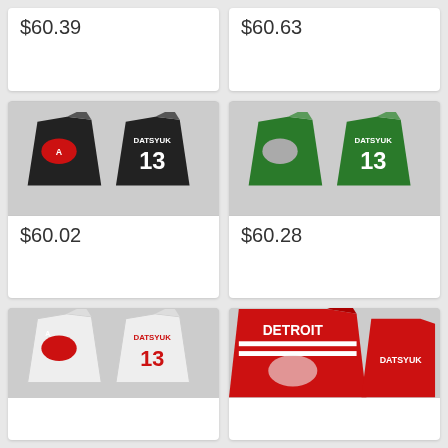$60.39
$60.63
[Figure (photo): Black Datsyuk #13 Detroit Red Wings hockey jersey shown front and back on mannequins]
$60.02
[Figure (photo): Green Datsyuk #13 Detroit Red Wings hockey jersey shown front and back on mannequins]
$60.28
[Figure (photo): White Datsyuk #13 Detroit Red Wings hockey jersey shown front and back on mannequins]
[Figure (photo): Red Detroit Red Wings Datsyuk jersey shown close-up with DETROIT text visible]